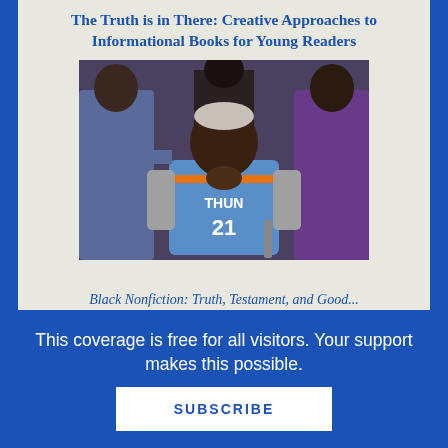The Truth is in There: Creative Approaches to Informational Books for Young Readers
[Figure (photo): An elderly Black woman wearing a blue Oklahoma City Thunder basketball jersey with number 21, seated in a wheelchair, surrounded by people. She appears to be at a public event outdoors.]
Black Nonfiction: Truth, Testament, and Good...
This coverage is free for all visitors. Your support makes this possible.
SUBSCRIBE